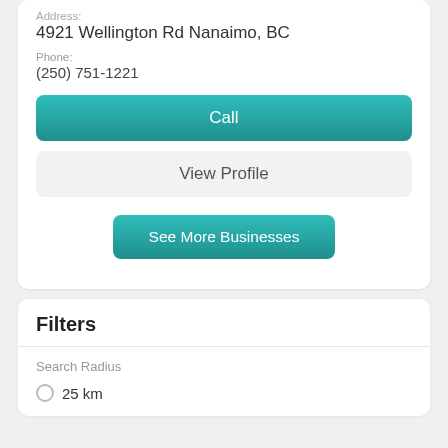Address:
4921 Wellington Rd Nanaimo, BC
Phone:
(250) 751-1221
Call
View Profile
See More Businesses
Filters
Search Radius
25 km